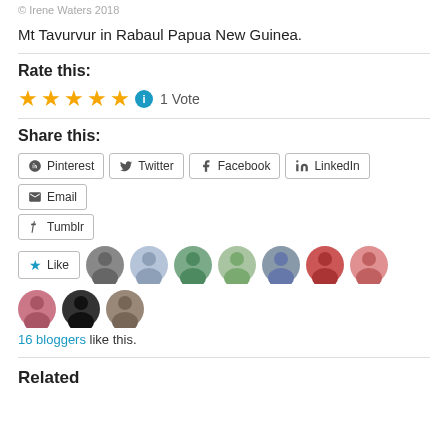© Irene Waters 2018
Mt Tavurvur in Rabaul Papua New Guinea.
Rate this:
★★★★★ ⓘ 1 Vote
Share this:
Pinterest  Twitter  Facebook  LinkedIn  Email  Tumblr
Like  16 bloggers like this.
Related